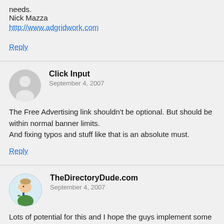needs.
Nick Mazza
http://www.adgridwork.com
Reply
Click Input
September 4, 2007
The Free Advertising link shouldn’t be optional. But should be within normal banner limits.
And fixing typos and stuff like that is an absolute must.
Reply
TheDirectoryDude.com
September 4, 2007
Lots of potential for this and I hope the guys implement some of your suggestions. They definitely got their $70 worth. This was more like a consulting gig than a review:)
Reply